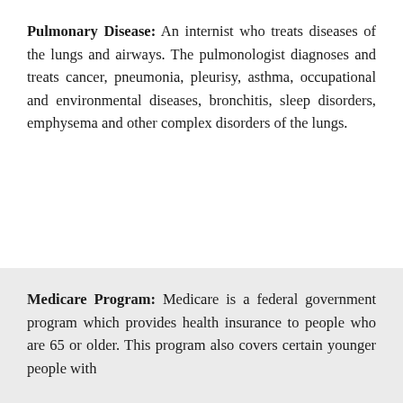Pulmonary Disease: An internist who treats diseases of the lungs and airways. The pulmonologist diagnoses and treats cancer, pneumonia, pleurisy, asthma, occupational and environmental diseases, bronchitis, sleep disorders, emphysema and other complex disorders of the lungs.
Medicare Program: Medicare is a federal government program which provides health insurance to people who are 65 or older. This program also covers certain younger people with